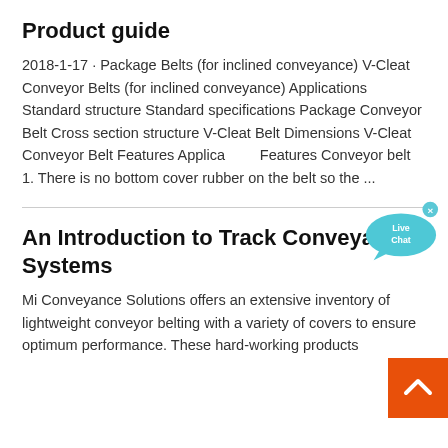Product guide
2018-1-17 · Package Belts (for inclined conveyance) V-Cleat Conveyor Belts (for inclined conveyance) Applications Standard structure Standard specifications Package Conveyor Belt Cross section structure V-Cleat Belt Dimensions V-Cleat Conveyor Belt Features Applications Features Conveyor belt 1. There is no bottom cover rubber on the belt so the ...
An Introduction to Track Conveyance Systems
Mi Conveyance Solutions offers an extensive inventory of lightweight conveyor belting with a variety of covers to ensure optimum performance. These hard-working products